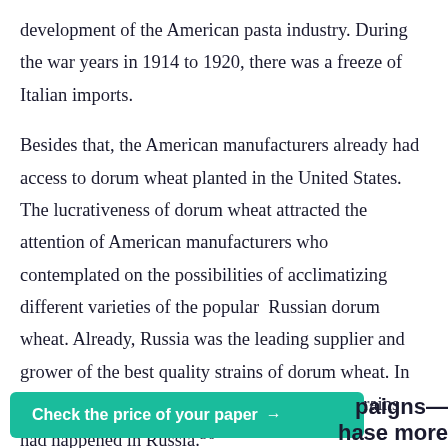development of the American pasta industry. During the war years in 1914 to 1920, there was a freeze of Italian imports.
Besides that, the American manufacturers already had access to dorum wheat planted in the United States. The lucrativeness of dorum wheat attracted the attention of American manufacturers who contemplated on the possibilities of acclimatizing different varieties of the popular Russian dorum wheat. Already, Russia was the leading supplier and grower of the best quality strains of dorum wheat. In fact, attempts to grow Russian dorum wheat strains had happened in Russia.36
[Figure (other): Green call-to-action button reading 'Check the price of your paper →' overlapping a partially visible section heading showing 'paigns—' and 'hase more']